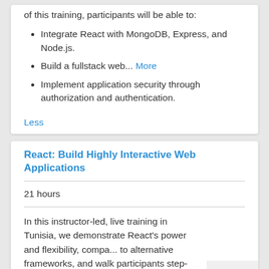of this training, participants will be able to:
Integrate React with MongoDB, Express, and Node.js.
Build a fullstack web... More
Implement application security through authorization and authentication.
Less
React: Build Highly Interactive Web Applications
21 hours
In this instructor-led, live training in Tunisia, we demonstrate React's power and flexibility, compare to alternative frameworks, and walk participants step-by-step through the creation of their own React application. By the end of this course, participants will